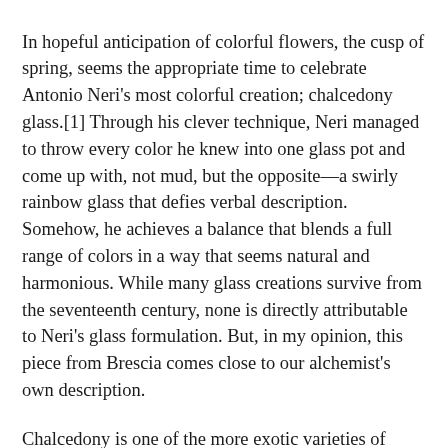In hopeful anticipation of colorful flowers, the cusp of spring, seems the appropriate time to celebrate Antonio Neri's most colorful creation; chalcedony glass.[1] Through his clever technique, Neri managed to throw every color he knew into one glass pot and come up with, not mud, but the opposite—a swirly rainbow glass that defies verbal description. Somehow, he achieves a balance that blends a full range of colors in a way that seems natural and harmonious. While many glass creations survive from the seventeenth century, none is directly attributable to Neri's glass formulation. But, in my opinion, this piece from Brescia comes close to our alchemist's own description.
Chalcedony is one of the more exotic varieties of glass described in Antonio Neri's book, L'Arte Vetraria. It is also one of the most labor intensive, exacting recipes and consequently a 'high stakes' risk for losing the entire batch after considerable work. Nevertheless, Neri assures us that the end result is worth the trouble by describing it...